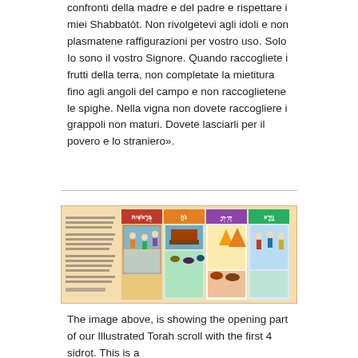confronti della madre e del padre e rispettare i miei Shabbatòt. Non rivolgetevi agli idoli e non plasmatene raffigurazioni per vostro uso. Solo Io sono il vostro Signore. Quando raccogliete i frutti della terra, non completate la mietitura fino agli angoli del campo e non raccoglietene le spighe. Nella vigna non dovete raccogliere i grappoli non maturi. Dovete lasciarli per il povero e lo straniero».
[Figure (illustration): An illustrated Torah scroll showing the opening part with the first 4 sidrot, displayed as a horizontal panoramic strip with colorful illustrations and text panels on a warm beige background.]
The image above, is showing the opening part of our Illustrated Torah scroll with the first 4 sidrot. This is a